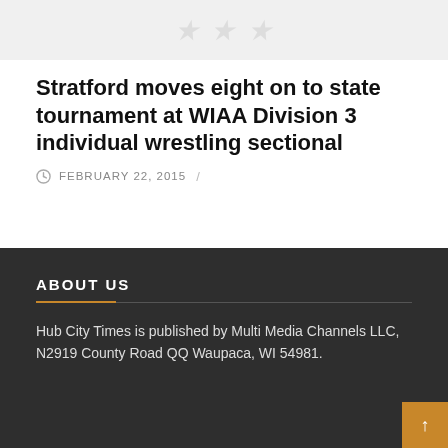[Figure (other): Faded watermark/background image area at top of page]
Stratford moves eight on to state tournament at WIAA Division 3 individual wrestling sectional
FEBRUARY 22, 2015 /
ABOUT US
Hub City Times is published by Multi Media Channels LLC, N2919 County Road QQ Waupaca, WI 54981.